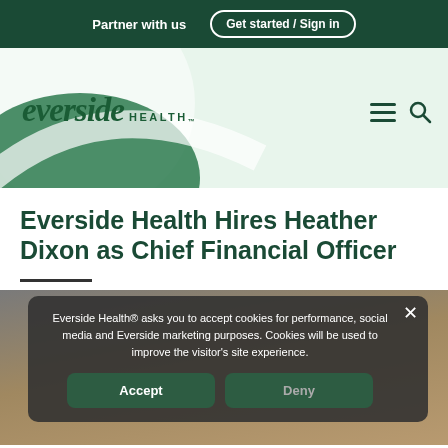Partner with us   Get started / Sign in
[Figure (logo): Everside Health logo with stylized italic text and decorative green circles]
Everside Health Hires Heather Dixon as Chief Financial Officer
Everside Health® asks you to accept cookies for performance, social media and Everside marketing purposes. Cookies will be used to improve the visitor's site experience.
[Figure (photo): Partial photo of a blonde woman, partially obscured by cookie consent banner]